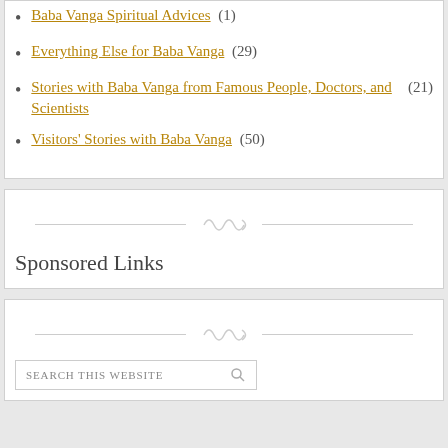Baba Vanga Spiritual Advices (1)
Everything Else for Baba Vanga (29)
Stories with Baba Vanga from Famous People, Doctors, and Scientists (21)
Visitors' Stories with Baba Vanga (50)
Sponsored Links
SEARCH THIS WEBSITE